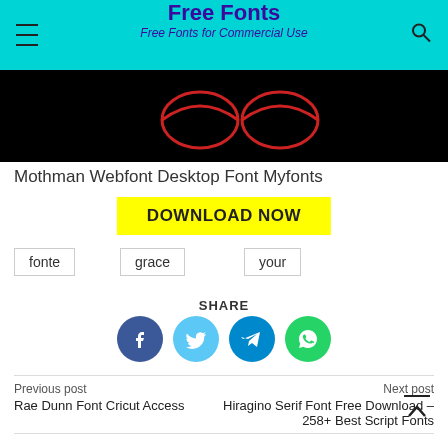Free Fonts — Free Fonts for Commercial Use
[Figure (photo): Dark/black background image with red eye-like shapes, partial view of a Mothman font specimen]
Mothman Webfont Desktop Font Myfonts
DOWNLOAD NOW
fonte
grace
your
SHARE
[Figure (infographic): Social share buttons: Facebook, Twitter, Telegram, WhatsApp]
Previous post
Rae Dunn Font Cricut Access
Next post
Hiragino Serif Font Free Download – 258+ Best Script Fonts